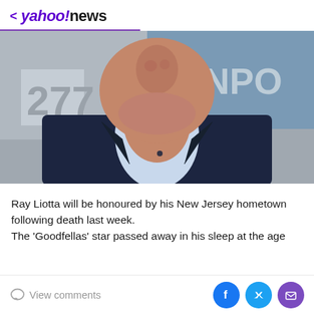< yahoo!news
[Figure (photo): Close-up photo of Ray Liotta's face and upper torso, wearing a dark navy suit with a light blue shirt open at the collar. Background shows partial text/signage.]
Ray Liotta will be honoured by his New Jersey hometown following death last week.
The 'Goodfellas' star passed away in his sleep at the age
View comments  [Facebook] [Twitter] [Email]